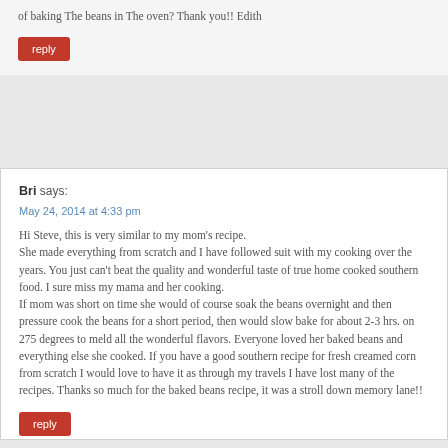of baking The beans in The oven? Thank you!! Edith
reply
Bri says:
May 24, 2014 at 4:33 pm
Hi Steve, this is very similar to my mom's recipe. She made everything from scratch and I have followed suit with my cooking over the years. You just can't beat the quality and wonderful taste of true home cooked southern food. I sure miss my mama and her cooking. If mom was short on time she would of course soak the beans overnight and then pressure cook the beans for a short period, then would slow bake for about 2-3 hrs. on 275 degrees to meld all the wonderful flavors. Everyone loved her baked beans and everything else she cooked. If you have a good southern recipe for fresh creamed corn from scratch I would love to have it as through my travels I have lost many of the recipes. Thanks so much for the baked beans recipe, it was a stroll down memory lane!!
reply